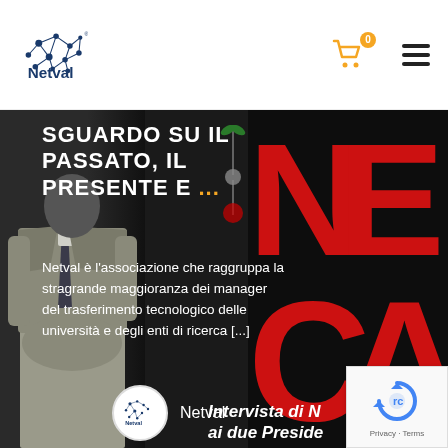[Figure (logo): Netval logo with blue network icon and blue text 'Netval']
[Figure (other): Shopping cart icon with orange badge showing '0']
[Figure (other): Hamburger menu icon (three horizontal lines)]
[Figure (photo): Screenshot of Netval website article preview showing a man in grey suit sitting, overlay text 'SGUARDO SU IL PASSATO, IL PRESENTE E ...', description of Netval association, bottom bar with Netval logo and 'Intervista di N ai due Preside' text. Red letters NE CA visible on right side. reCAPTCHA widget in bottom right corner.]
SGUARDO SU IL PASSATO, IL PRESENTE E ...
Netval è l'associazione che raggruppa la stragrande maggioranza dei manager del trasferimento tecnologico delle università e degli enti di ricerca [...]
Intervista di N ai due Preside
Privacy · Terms